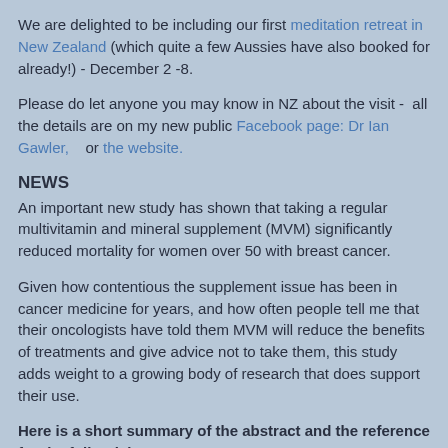We are delighted to be including our first meditation retreat in New Zealand (which quite a few Aussies have also booked for already!) - December 2 -8.
Please do let anyone you may know in NZ about the visit - all the details are on my new public Facebook page: Dr Ian Gawler, or the website.
NEWS
An important new study has shown that taking a regular multivitamin and mineral supplement (MVM) significantly reduced mortality for women over 50 with breast cancer.
Given how contentious the supplement issue has been in cancer medicine for years, and how often people tell me that their oncologists have told them MVM will reduce the benefits of treatments and give advice not to take them, this study adds weight to a growing body of research that does support their use.
Here is a short summary of the abstract and the reference for the full article.